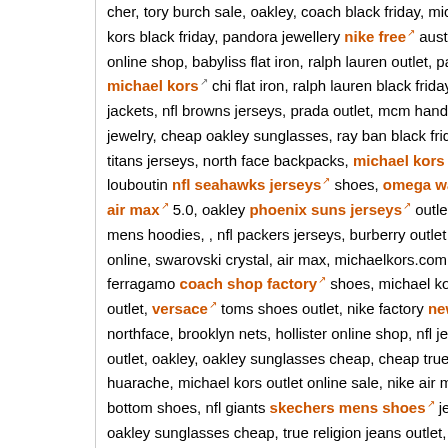cher, tory burch sale, oakley, coach black friday, michael kors, dsquared2 s kors black friday, pandora jewellery nike free australia, air m online shop, babyliss flat iron, ralph lauren outlet, pandora, bcbg max, tru michael kors chi flat iron, ralph lauren black friday, michael kors handb jackets, nfl browns jerseys, prada outlet, mcm handbags, levis outlet, socc jewelry, cheap oakley sunglasses, ray ban black friday, long champ, dre hea titans jerseys, north face backpacks, michael kors outlet online bcbg m louboutin nfl seahawks jerseys shoes, omega watches nike mercurial air max 5.0, oakley phoenix suns jerseys outlet online, nike kate spa mens hoodies, , nfl packers jerseys, burberry outlet online, tommy hilfiger online, swarovski crystal, air max, michaelkors.com, nike air max, hermes ferragamo coach shop factory shoes, michael kors purses, polo ralph ip outlet, versace toms shoes outlet, nike factory new balance store outl northface, brooklyn nets, hollister online shop, nfl jets jerseys, north face j outlet, oakley, oakley sunglasses cheap, cheap true religion, new balance st huarache, michael kors outlet online sale, nike air max 90, oakley black fri bottom shoes, nfl giants skechers mens shoes jerseys, ralph lauren uk, v oakley sunglasses cheap, true religion jeans outlet, nfl saints jerseys, jord wizards jerseys, michael kors, ferragamo, eyeglasses frames, coach outlet u nike roshe run, cheap coach factory outlet coach purses, nfl azcardinals air max thea, ray ban outlet, nfl colts jerseys, tory burch sale, toms outlet, jordan retro, thomas sabo, nfl raiders jerseys oakley sunglasses, nfl chi